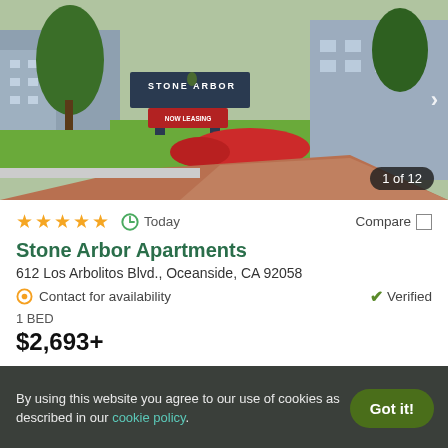[Figure (photo): Exterior photo of Stone Arbor Apartments showing the property sign with landscaped garden with red flowers and driveway, with apartment buildings in background. Badge shows '1 of 12'.]
★★★★★  Today  Compare
Stone Arbor Apartments
612 Los Arbolitos Blvd., Oceanside, CA 92058
Contact for availability   ✓ Verified
1 BED
$2,693+
View Details   Contact Property
By using this website you agree to our use of cookies as described in our cookie policy.   Got it!